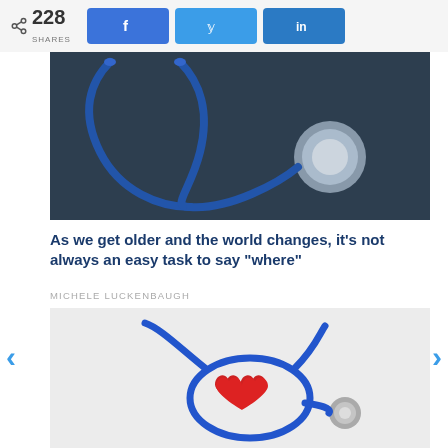228 SHARES
[Figure (photo): Stethoscope on dark background, top portion of article image]
As we get older and the world changes, it’s not always an easy task to say “where”
MICHELE LUCKENBAUGH
[Figure (photo): Blue stethoscope with red heart on white background]